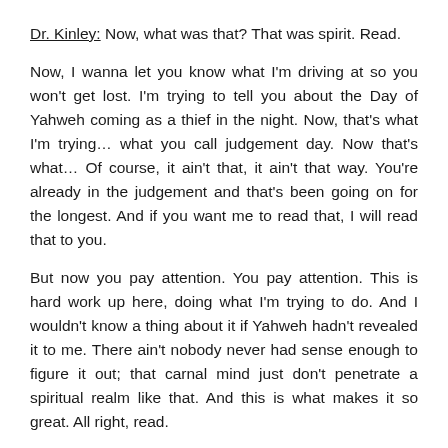Dr. Kinley: Now, what was that? That was spirit. Read.
Now, I wanna let you know what I'm driving at so you won't get lost. I'm trying to tell you about the Day of Yahweh coming as a thief in the night. Now, that's what I'm trying… what you call judgement day. Now that's what… Of course, it ain't that, it ain't that way. You're already in the judgement and that's been going on for the longest. And if you want me to read that, I will read that to you.
But now you pay attention. You pay attention. This is hard work up here, doing what I'm trying to do. And I wouldn't know a thing about it if Yahweh hadn't revealed it to me. There ain't nobody never had sense enough to figure it out; that carnal mind just don't penetrate a spiritual realm like that. And this is what makes it so great. All right, read.
Dr. Harris: Proverbs 8:22.